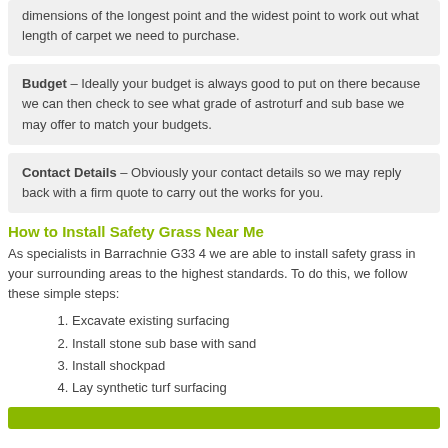dimensions of the longest point and the widest point to work out what length of carpet we need to purchase.
Budget – Ideally your budget is always good to put on there because we can then check to see what grade of astroturf and sub base we may offer to match your budgets.
Contact Details – Obviously your contact details so we may reply back with a firm quote to carry out the works for you.
How to Install Safety Grass Near Me
As specialists in Barrachnie G33 4 we are able to install safety grass in your surrounding areas to the highest standards. To do this, we follow these simple steps:
Excavate existing surfacing
Install stone sub base with sand
Install shockpad
Lay synthetic turf surfacing